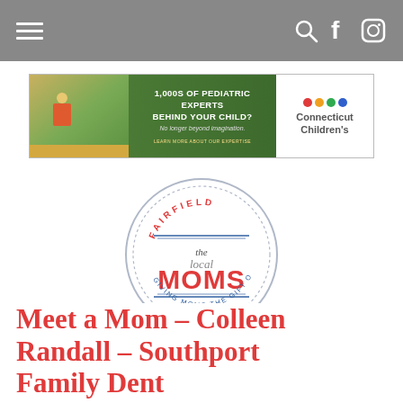Navigation bar with hamburger menu and social icons (search, Facebook, Instagram)
[Figure (photo): Connecticut Children's hospital advertisement banner: '1,000s OF PEDIATRIC EXPERTS BEHIND YOUR CHILD? No longer beyond imagination. LEARN MORE ABOUT OUR EXPERTISE' with Connecticut Children's logo]
[Figure (logo): Fairfield The Local MOMS Network - Giving Moms the Gift of Time circular logo]
Meet a Mom – Colleen Randall – Southport Family Dent...